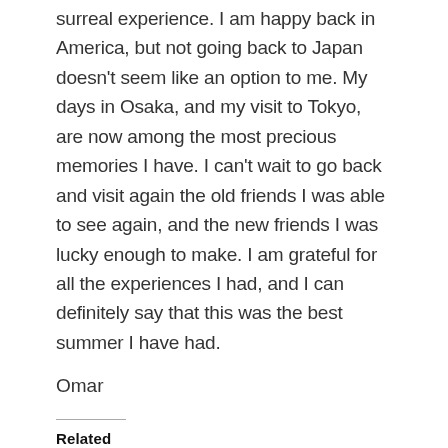surreal experience.  I am happy back in America, but not going back to Japan doesn't seem like an option to me.  My days in Osaka, and my visit to Tokyo, are now among the most precious memories I have.  I can't wait to go back and visit again the old friends I was able to see again, and the new friends I was lucky enough to make.  I am grateful for all the experiences I had, and I can definitely say that this was the best summer I have had.
Omar
Related
First Entry from Osaka, Japan
I'm sorry this entry is a bit long, but it was an eventful day! This entry...
Japanese Customer Service
Having been two months now in Japan, there is one thing I'm sure I will miss...